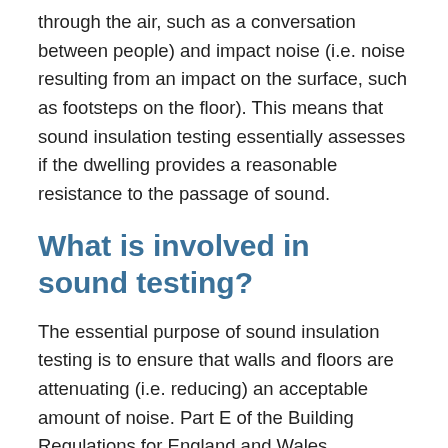through the air, such as a conversation between people) and impact noise (i.e. noise resulting from an impact on the surface, such as footsteps on the floor). This means that sound insulation testing essentially assesses if the dwelling provides a reasonable resistance to the passage of sound.
What is involved in sound testing?
The essential purpose of sound insulation testing is to ensure that walls and floors are attenuating (i.e. reducing) an acceptable amount of noise. Part E of the Building Regulations for England and Wales, therefore, requires that various walls and floors are tested between adjoining dwellings. The exact